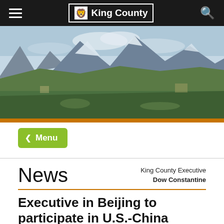King County
[Figure (photo): Aerial landscape photograph showing mountains, forests, and valleys — the King County Washington landscape.]
< Menu
News
King County Executive
Dow Constantine
Executive in Beijing to participate in U.S.-China climate summit
June 6, 2016